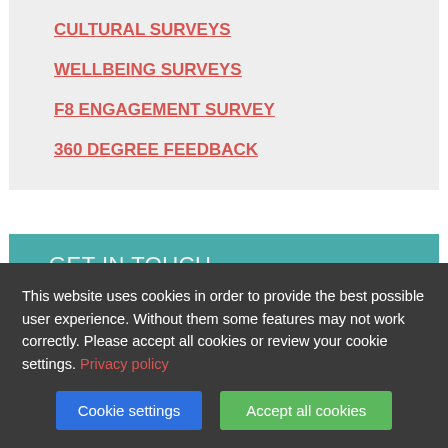CULTURAL SURVEYS
WELLBEING SURVEYS
F8 ENGAGEMENT SURVEY
360 DEGREE FEEDBACK
GET IN TOUCH
Call us on 0800 612 3098 or
This website uses cookies in order to provide the best possible user experience. Without them some features may not work correctly. Please accept all cookies or review your cookie settings. Privacy policy